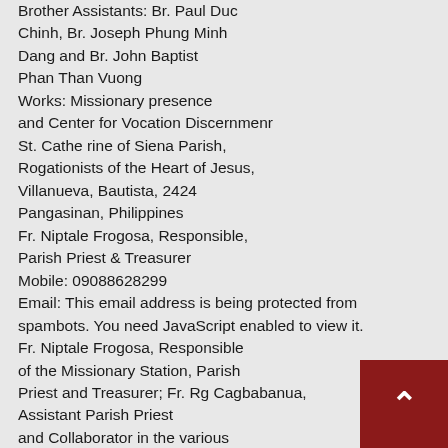Brother Assistants: Br. Paul Duc Chinh, Br. Joseph Phung Minh Dang and Br. John Baptist Phan Than Vuong
Works: Missionary presence and Center for Vocation Discernmenr
St. Cathe rine of Siena Parish, Rogationists of the Heart of Jesus, Villanueva, Bautista, 2424 Pangasinan, Philippines
Fr. Niptale Frogosa, Responsible, Parish Priest & Treasurer
Mobile: 09088628299
Email: This email address is being protected from spambots. You need JavaScript enabled to view it.
Fr. Niptale Frogosa, Responsible of the Missionary Station, Parish Priest and Treasurer; Fr. Rg Cagbabanua, Assistant Parish Priest and Collaborator in the various Activities of the House; Fr. Ricardo